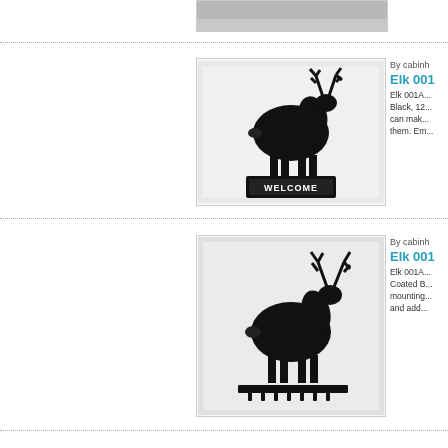[Figure (photo): Partial photo at top of page — cropped elk metal art piece on white background]
[Figure (photo): Black metal elk silhouette welcome sign with antlers, standing on a rectangular base that reads WELCOME]
By cabinh
Elk 001
Elk 001A... Black, 12... can make... them. Em...
[Figure (photo): Black metal elk silhouette key holder with antlers, standing on a bar with hooks at the bottom]
By cabinh
Elk 001
Elk 001A... Coated B... mounting... and add...